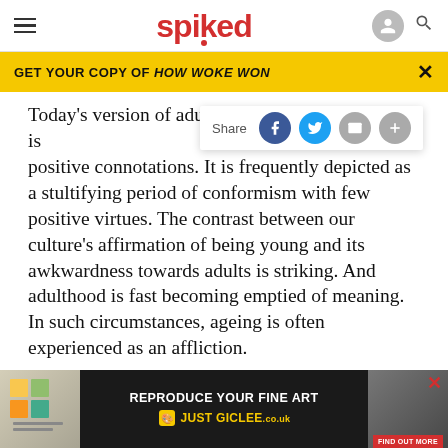spiked
GET YOUR COPY OF HOW WOKE WON
Today's version of adulthood is [Share overlay] positive connotations. It is frequently depicted as a stultifying period of conformism with few positive virtues. The contrast between our culture's affirmation of being young and its awkwardness towards adults is striking. And adulthood is fast becoming emptied of meaning. In such circumstances, ageing is often experienced as an affliction.
Of course, disdain for old age is not new. As Barry
ABOUT
[Figure (screenshot): Advertisement banner: REPRODUCE YOUR FINE ART / JUST GICLEE.co.uk with FIND OUT MORE button]